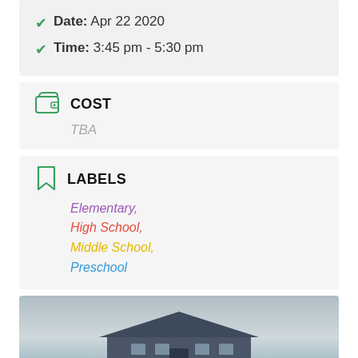Date: Apr 22 2020
Time: 3:45 pm - 5:30 pm
COST
TBA
LABELS
Elementary,
High School,
Middle School,
Preschool
[Figure (photo): Exterior photo of a building with a roof visible against an overcast sky]